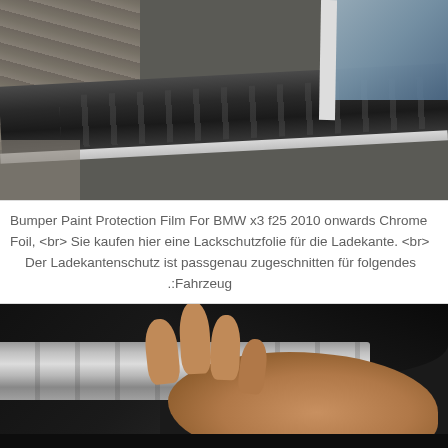[Figure (photo): Close-up photo of a car's rear bumper/loadingsill area with a black rubber protective strip with ribbed texture, showing cobblestone pavement on the left and car window glass on the upper right.]
Bumper Paint Protection Film For BMW x3 f25 2010 onwards Chrome Foil, <br> Sie kaufen hier eine Lackschutzfolie für die Ladekante. <br> Der Ladekantenschutz ist passgenau zugeschnitten für folgendes .:Fahrzeug
[Figure (photo): Photo of a person's hand (wearing a dark sleeve) pressing down on a stainless steel bumper protection strip on a car's rear bumper, with dark background.]